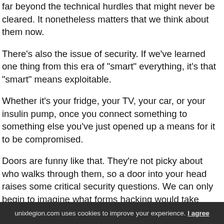far beyond the technical hurdles that might never be cleared. It nonetheless matters that we think about them now.
There's also the issue of security. If we've learned one thing from this era of "smart" everything, it's that "smart" means exploitable.
Whether it's your fridge, your TV, your car, or your insulin pump, once you connect something to something else you've just opened up a means for it to be compromised.
Doors are funny like that. They're not picky about who walks through them, so a door into your head raises some critical security questions. We can only begin to imagine what forms hacking would take when you have a direct line into the
unixlegion.com uses cookies to improve your experience. I agree